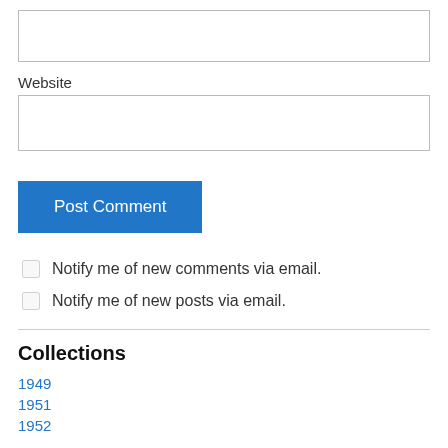[input box at top]
Website
[Website input box]
Post Comment
Notify me of new comments via email.
Notify me of new posts via email.
Collections
1949
1951
1952